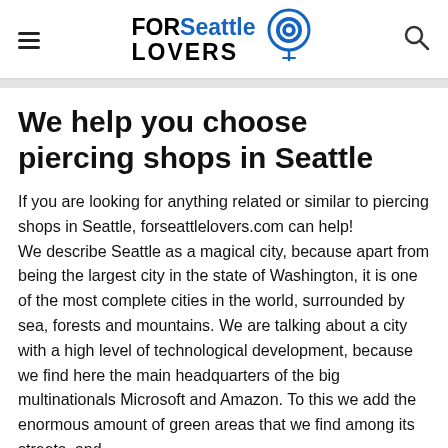FOR Seattle LOVERS
We help you choose piercing shops in Seattle
If you are looking for anything related or similar to piercing shops in Seattle, forseattlelovers.com can help! We describe Seattle as a magical city, because apart from being the largest city in the state of Washington, it is one of the most complete cities in the world, surrounded by sea, forests and mountains. We are talking about a city with a high level of technological development, because we find here the main headquarters of the big multinationals Microsoft and Amazon. To this we add the enormous amount of green areas that we find among its streets, and